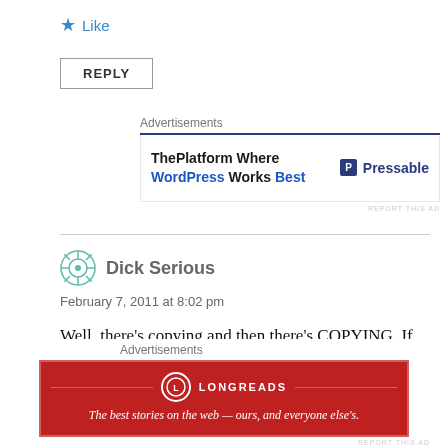★ Like
REPLY
[Figure (infographic): Advertisement banner: ThePlatform Where WordPress Works Best — Pressable logo]
Dick Serious
February 7, 2011 at 8:02 pm
Well, there's copying and then there's COPYING. If Apple had taken the Blackberry, completely cloned the hardware and OS and simply slapped an Apple logo over the RIM logo, it would be a big problem
[Figure (infographic): Longreads advertisement: The best stories on the web — ours, and everyone else's.]